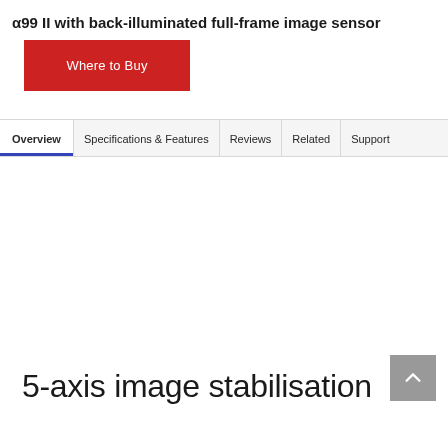α99 II with back-illuminated full-frame image sensor
Where to Buy
Overview | Specifications & Features | Reviews | Related | Support
5-axis image stabilisation